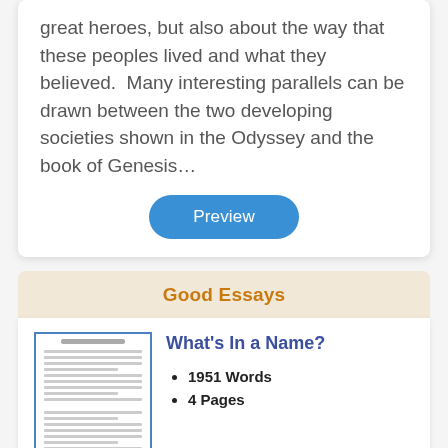great heroes, but also about the way that these peoples lived and what they believed.  Many interesting parallels can be drawn between the two developing societies shown in the Odyssey and the book of Genesis…
[Figure (other): Blue rounded rectangle button labeled 'Preview']
Good Essays
[Figure (other): Thumbnail preview of a document page with lines of text]
What's In a Name?
1951 Words
4 Pages
What's In a Name? by Test Members. Some of